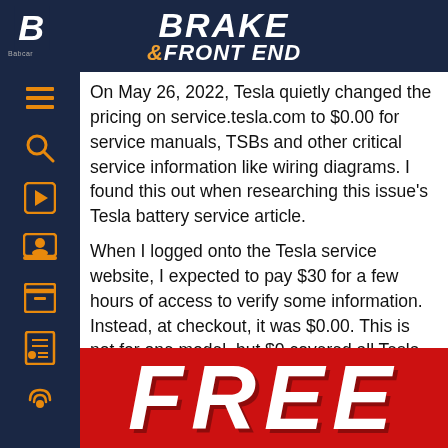BRAKE & FRONT END
On May 26, 2022, Tesla quietly changed the pricing on service.tesla.com to $0.00 for service manuals, TSBs and other critical service information like wiring diagrams. I found this out when researching this issue's Tesla battery service article.
When I logged onto the Tesla service website, I expected to pay $30 for a few hours of access to verify some information. Instead, at checkout, it was $0.00. This is not for one model, but $0 covered all Tesla Models over the past 10 years.
[Figure (other): Large bold white text reading FREE on a red background banner]